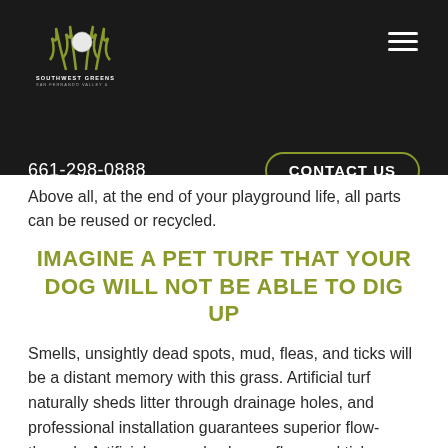[Figure (logo): Southwest Greens logo with grass blades and golf ball icon, text reading SOUTHWEST GREENS SAN FERNANDO VALLEY & NORTH LOS ANGELES]
661-298-0888
CONTACT US
Above all, at the end of your playground life, all parts can be reused or recycled.
IMAGINE A PET TURF THAT YOUR DOG WILL NOT BE ABLE TO DIG UP
Smells, unsightly dead spots, mud, fleas, and ticks will be a distant memory with this grass. Artificial turf naturally sheds litter through drainage holes, and professional installation guarantees superior flow-through. Artificial grass also keeps fleas and ticks